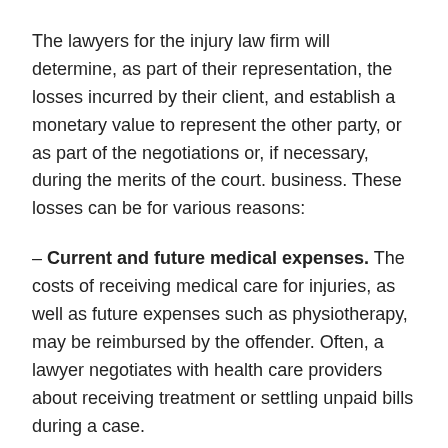The lawyers for the injury law firm will determine, as part of their representation, the losses incurred by their client, and establish a monetary value to represent the other party, or as part of the negotiations or, if necessary, during the merits of the court. business. These losses can be for various reasons:
– Current and future medical expenses. The costs of receiving medical care for injuries, as well as future expenses such as physiotherapy, may be reimbursed by the offender. Often, a lawyer negotiates with health care providers about receiving treatment or settling unpaid bills during a case.
– Pain and suffering. Psychological trauma as a result of a painful act is also subject to recovery. Recently, courts have expanded this element of damage to include hedonistic damage. This refers to the loss of life pleasures